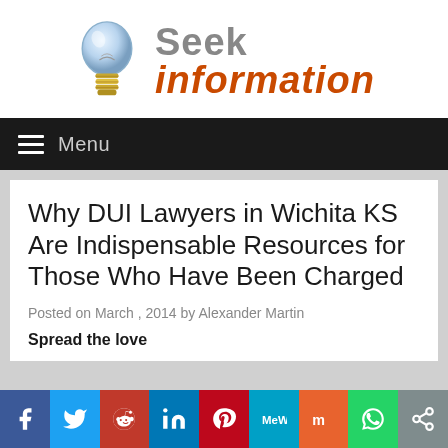[Figure (logo): Seek Information website logo with a lightbulb icon and text 'Seek information' in grey and orange]
Menu
Why DUI Lawyers in Wichita KS Are Indispensable Resources for Those Who Have Been Charged
Posted on March , 2014 by Alexander Martin
Spread the love
[Figure (infographic): Social sharing bar with buttons: Facebook, Twitter, Reddit, LinkedIn, Pinterest, MeWe, Mix, WhatsApp, Share]